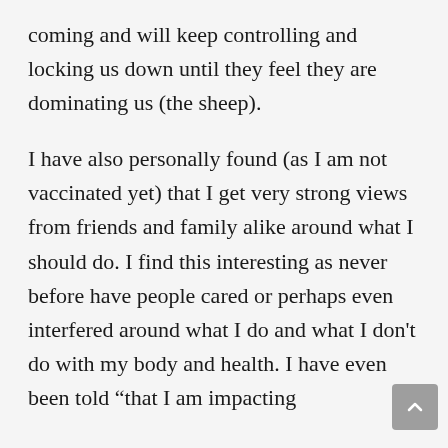coming and will keep controlling and locking us down until they feel they are dominating us (the sheep).
I have also personally found (as I am not vaccinated yet) that I get very strong views from friends and family alike around what I should do. I find this interesting as never before have people cared or perhaps even interfered around what I do and what I don't do with my body and health. I have even been told “that I am impacting